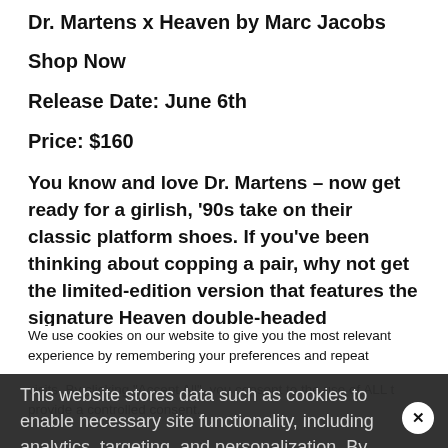Dr. Martens x Heaven by Marc Jacobs
Shop Now
Release Date: June 6th
Price: $160
You know and love Dr. Martens – now get ready for a girlish, '90s take on their classic platform shoes. If you've been thinking about copping a pair, why not get the limited-edition version that features the signature Heaven double-headed
We use cookies on our website to give you the most relevant experience by remembering your preferences and repeat visits. By clicking "Accept All", you consent to the use of ALL t… provide a controlled consent.
This website stores data such as cookies to enable necessary site functionality, including analytics, targeting, and personalization. By remaining on this website you indicate your consent Cookie Policy